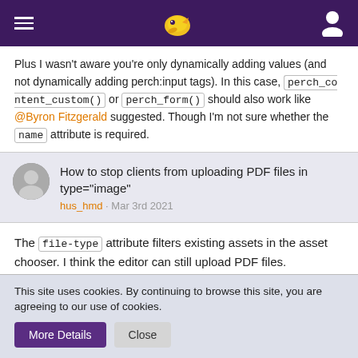Navigation header with logo
Plus I wasn't aware you're only dynamically adding values (and not dynamically adding perch:input tags). In this case, perch_content_custom() or perch_form() should also work like @Byron Fitzgerald suggested. Though I'm not sure whether the name attribute is required.
How to stop clients from uploading PDF files in type="image"
hus_hmd · Mar 3rd 2021
The file-type attribute filters existing assets in the asset chooser. I think the editor can still upload PDF files.
This site uses cookies. By continuing to browse this site, you are agreeing to our use of cookies.
More Details
Close